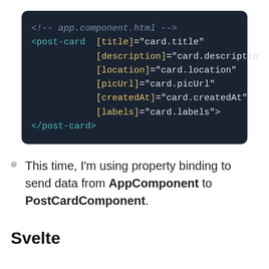[Figure (screenshot): Dark-themed code editor block showing Angular HTML template code for app.component.html with post-card component and property bindings]
This time, I'm using property binding to send data from AppComponent to PostCardComponent.
Svelte